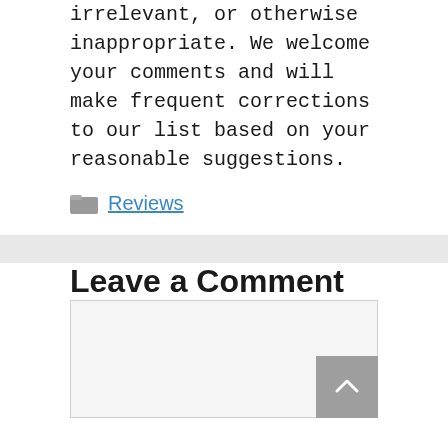irrelevant, or otherwise inappropriate. We welcome your comments and will make frequent corrections to our list based on your reasonable suggestions.
Categories: Reviews
Leave a Comment
[Figure (screenshot): Comment text input area with light grey background and a scroll-to-top button in the bottom right corner]